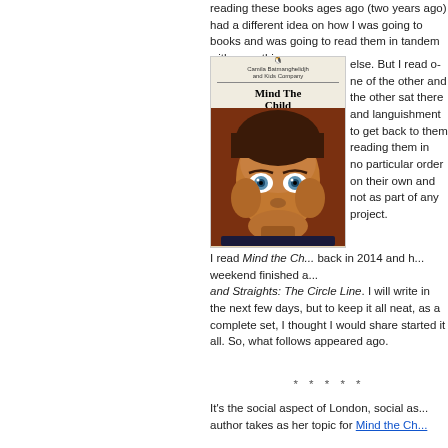reading these books ages ago (two years ago) had a different idea on how I was going to books and was going to read them in tandem with something else. But I read one of the other and the other sat there and languished. I meant to get back to them and ended up reading them in no particular order on their own and not as part of any project.
[Figure (photo): Book cover of 'Mind The Child' by Camila Batmanghelidjh and Kids Company, showing a painted portrait of a child with large eyes, Penguin publisher logo at top]
I read Mind the Ch... back in 2014 and h... weekend finished a... and Straights: The Circle Line. I will write in the next few days, but to keep it all neat as a complete set, I thought I would share started it all. So, what follows appeared ago.
* * * * *
It's the social aspect of London, social as... author takes as her topic for Mind the Ch... Camila Batmanghelidjh and Kids Company